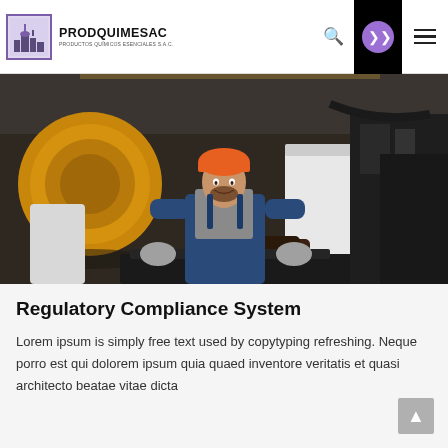[Figure (logo): PRODQUIMESAC logo with industrial building icon and text 'PRODQUIMESAC PRODUCTOS QUÍMICOS ESENCIALES S.A.C.']
[Figure (photo): Industrial worker wearing orange hard hat and blue overalls working with machinery and large copper/gold rolls in a factory setting]
Regulatory Compliance System
Lorem ipsum is simply free text used by copytyping refreshing. Neque porro est qui dolorem ipsum quia quaed inventore veritatis et quasi architecto beatae vitae dicta